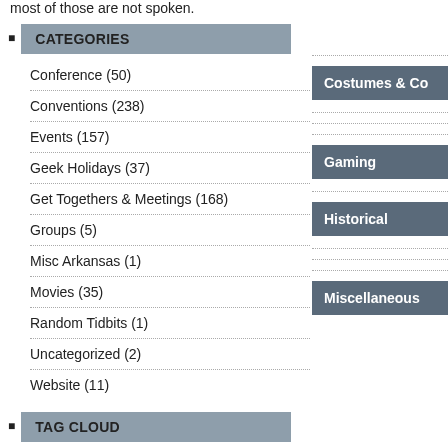most of those are not spoken.
CATEGORIES
Conference (50)
Conventions (238)
Events (157)
Geek Holidays (37)
Get Togethers & Meetings (168)
Groups (5)
Misc Arkansas (1)
Movies (35)
Random Tidbits (1)
Uncategorized (2)
Website (11)
TAG CLOUD
501st
2010
Costumes & Co
Gaming
Historical
Miscellaneous